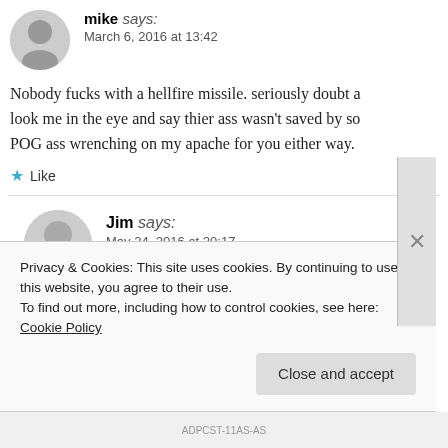mike says: March 6, 2016 at 13:42
Nobody fucks with a hellfire missile. seriously doubt a... look me in the eye and say thier ass wasn't saved by so... POG ass wrenching on my apache for you either way.
★ Like
Jim says: May 24, 2016 at 20:17
I am a MP and went on over 400 missions in 9 Months ... was attached to our PSD team. Infantry they were a...rk
Privacy & Cookies: This site uses cookies. By continuing to use this website, you agree to their use.
To find out more, including how to control cookies, see here: Cookie Policy
Close and accept